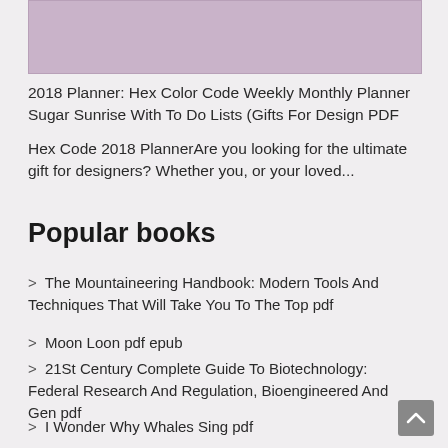[Figure (illustration): Mauve/purple colored rectangular image placeholder at the top of the page]
2018 Planner: Hex Color Code Weekly Monthly Planner Sugar Sunrise With To Do Lists (Gifts For Design PDF
Hex Code 2018 PlannerAre you looking for the ultimate gift for designers? Whether you, or your loved...
Popular books
> The Mountaineering Handbook: Modern Tools And Techniques That Will Take You To The Top pdf
> Moon Loon pdf epub
> 21St Century Complete Guide To Biotechnology: Federal Research And Regulation, Bioengineered And Gen pdf
> I Wonder Why Whales Sing pdf